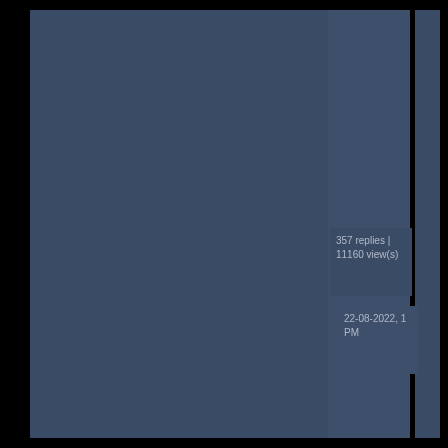357 replies | 11160 view(s)
22-08-2022, 1 PM